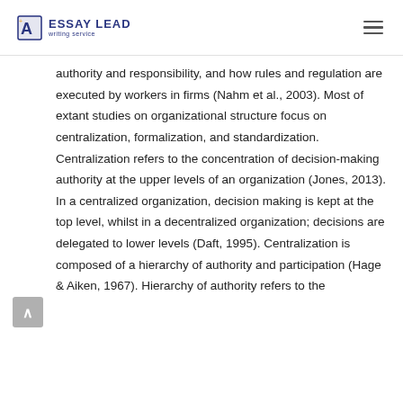ESSAY LEAD writing service
authority and responsibility, and how rules and regulation are executed by workers in firms (Nahm et al., 2003). Most of extant studies on organizational structure focus on centralization, formalization, and standardization. Centralization refers to the concentration of decision-making authority at the upper levels of an organization (Jones, 2013). In a centralized organization, decision making is kept at the top level, whilst in a decentralized organization; decisions are delegated to lower levels (Daft, 1995). Centralization is composed of a hierarchy of authority and participation (Hage & Aiken, 1967). Hierarchy of authority refers to the